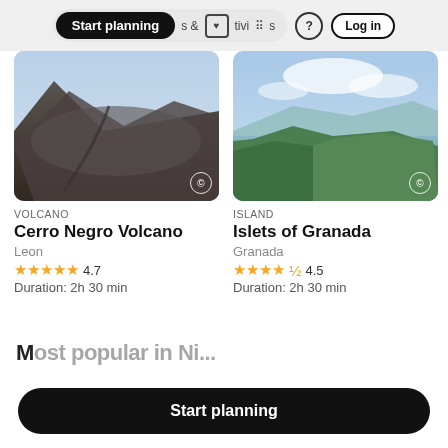Start planning  & Activities  ?  Log in
[Figure (photo): Aerial view of Cerro Negro Volcano, dark volcanic landscape with sandy slopes and blue sky]
VOLCANO
Cerro Negro Volcano
Leon
★★★★★ 4.7
Duration: 2h 30 min
[Figure (photo): Panoramic view of Islets of Granada, lush green hills and lake with blue sky]
ISLAND
Islets of Granada
Granada
★★★★½ 4.5
Duration: 2h 30 min
Start planning